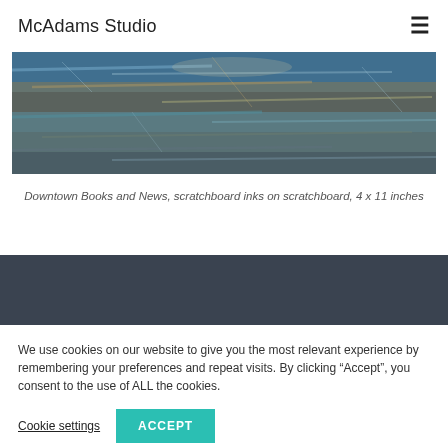McAdams Studio
[Figure (photo): Partial view of a scratchboard artwork showing textured landscape with blue and earth tones, depicting Downtown Books and News]
Downtown Books and News, scratchboard inks on scratchboard, 4 x 11 inches
We use cookies on our website to give you the most relevant experience by remembering your preferences and repeat visits. By clicking “Accept”, you consent to the use of ALL the cookies.
Cookie settings  ACCEPT